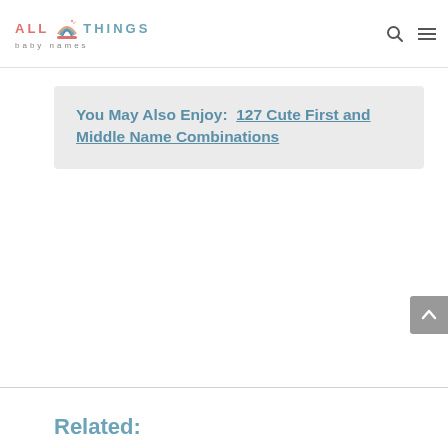[Figure (logo): All Things Baby Names logo with rainbow icon]
You May Also Enjoy:  127 Cute First and Middle Name Combinations
Related: